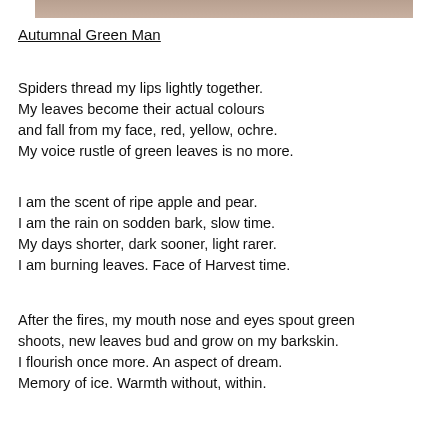[Figure (photo): Partial photograph visible at top of page, showing an autumnal or nature-related image (Green Man).]
Autumnal Green Man
Spiders thread my lips lightly together.
My leaves become their actual colours
and fall from my face, red, yellow, ochre.
My voice rustle of green leaves is no more.
I am the scent of ripe apple and pear.
I am the rain on sodden bark, slow time.
My days shorter, dark sooner, light rarer.
I am burning leaves. Face of Harvest time.
After the fires, my mouth nose and eyes spout green
shoots, new leaves bud and grow on my barkskin.
I flourish once more. An aspect of dream.
Memory of ice. Warmth without, within.